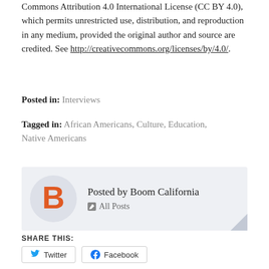Commons Attribution 4.0 International License (CC BY 4.0), which permits unrestricted use, distribution, and reproduction in any medium, provided the original author and source are credited. See http://creativecommons.org/licenses/by/4.0/.
Posted in: Interviews
Tagged in: African Americans, Culture, Education, Native Americans
[Figure (other): Author box with Boom California logo (orange B on gray circle) and text 'Posted by Boom California' with 'All Posts' link and fold corner decoration]
SHARE THIS:
Twitter   Facebook